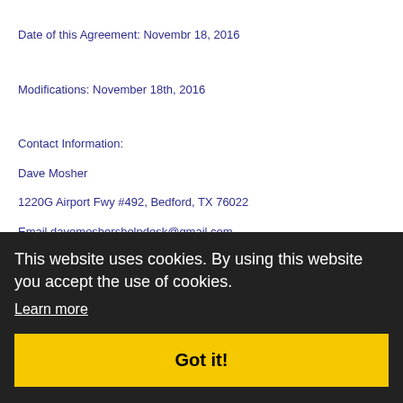Date of this Agreement: Novembr 18, 2016
Modifications: November 18th, 2016
Contact Information:
Dave Mosher
1220G Airport Fwy #492, Bedford, TX 76022
Email davemoshershelpdesk@gmail.com
Support: http://www.totaladexplosion.com/support/index.php
Ph: 469-407-7831
This website uses cookies. By using this website you accept the use of cookies.
Learn more
Got it!